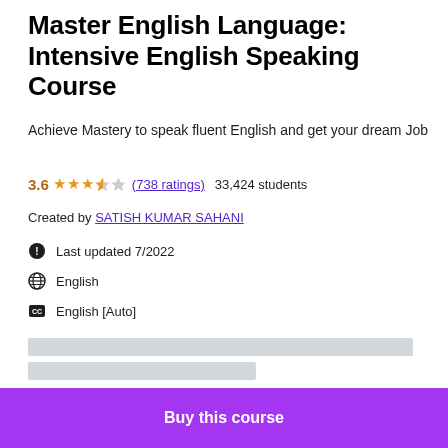Master English Language: Intensive English Speaking Course
Achieve Mastery to speak fluent English and get your dream Job
3.6 ★★★½☆ (738 ratings)  33,424 students
Created by SATISH KUMAR SAHANI
Last updated 7/2022
English
English [Auto]
[Figure (other): Placeholder loading bars for course content]
Buy this course